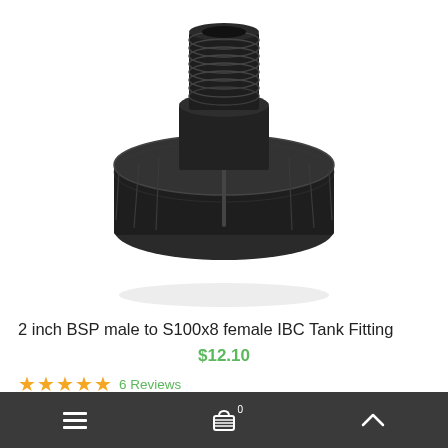[Figure (photo): Black plastic adapter fitting — IBC tank fitting with large threaded base (S100x8 female) and smaller male BSP threaded top section, viewed from a slight angle against white background.]
2 inch BSP male to S100x8 female IBC Tank Fitting
$12.10
★★★★★ 6 Reviews
≡  🛒0  ∧